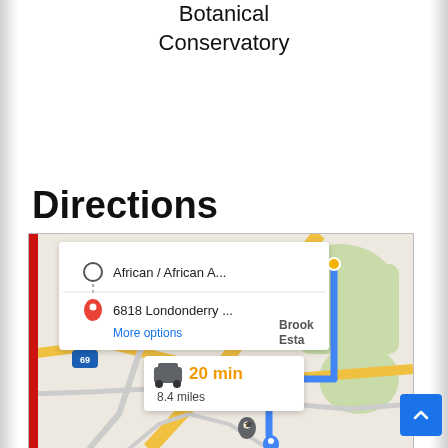Botanical Conservatory
Directions
[Figure (screenshot): Google Maps screenshot showing directions from African / African A... to 6818 Londonderry ..., with a map overlay showing a blue route, 20 min, 8.4 miles, and a 'More options' link. A red vertical bar appears on the left side of the map.]